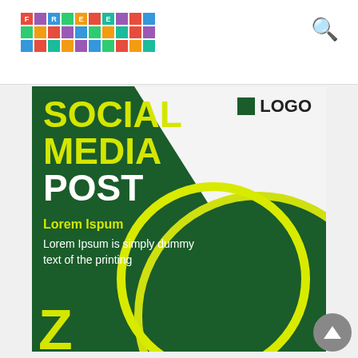FREE [colorful logo tiles] + search icon
[Figure (illustration): Social media post template design: dark green background with yellow diagonal text reading SOCIAL MEDIA POST, Lorem Ipsum subheading and body text, LOGO placeholder top-right, large dark green circle with yellow border bottom-right, partial yellow Z shapes at bottom]
SOCIAL MEDIA POST
Lorem Ispum
Lorem Ipsum is simply dummy text of the printing